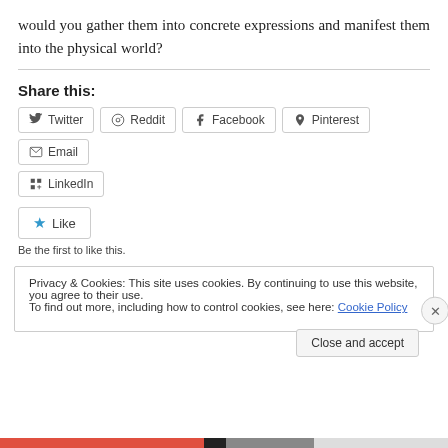would you gather them into concrete expressions and manifest them into the physical world?
Share this:
Twitter  Reddit  Facebook  Pinterest  Email  LinkedIn
Like  Be the first to like this.
Privacy & Cookies: This site uses cookies. By continuing to use this website, you agree to their use. To find out more, including how to control cookies, see here: Cookie Policy
Close and accept